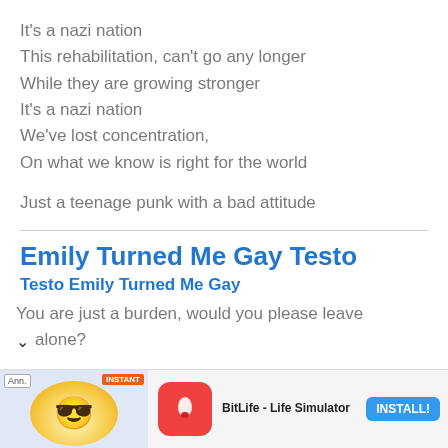It's a nazi nation
This rehabilitation, can't go any longer
While they are growing stronger
It's a nazi nation
We've lost concentration,
On what we know is right for the world
Just a teenage punk with a bad attitude
Emily Turned Me Gay Testo
Testo Emily Turned Me Gay
You are just a burden, would you please leave alone?
[Figure (other): Mobile advertisement banner for BitLife - Life Simulator app with install button]